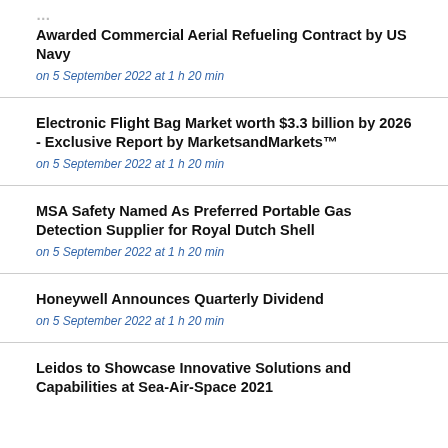Awarded Commercial Aerial Refueling Contract by US Navy
on 5 September 2022 at 1 h 20 min
Electronic Flight Bag Market worth $3.3 billion by 2026 - Exclusive Report by MarketsandMarkets™
on 5 September 2022 at 1 h 20 min
MSA Safety Named As Preferred Portable Gas Detection Supplier for Royal Dutch Shell
on 5 September 2022 at 1 h 20 min
Honeywell Announces Quarterly Dividend
on 5 September 2022 at 1 h 20 min
Leidos to Showcase Innovative Solutions and Capabilities at Sea-Air-Space 2021